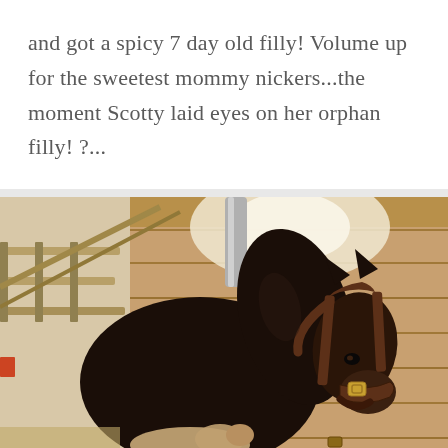and got a spicy 7 day old filly! Volume up for the sweetest mommy nickers...the moment Scotty laid eyes on her orphan filly! ?...
[Figure (photo): A dark bay horse wearing a brown leather halter with a gold buckle, photographed inside a wooden stable/barn. The horse's head and neck are visible, facing slightly right. Wooden planks and beams are visible in the background with bright light coming through gaps. A small foal appears at the bottom of the image.]